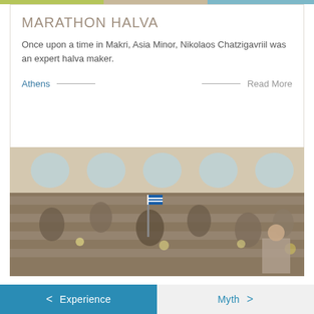MARATHON HALVA
Once upon a time in Makri, Asia Minor, Nikolaos Chatzigavriil was an expert halva maker.
Athens
Read More
[Figure (photo): Interior of a large covered market hall with arched windows, busy with vendors and shoppers at fish or food stalls, with a Greek flag visible in the center.]
< Experience   Myth >